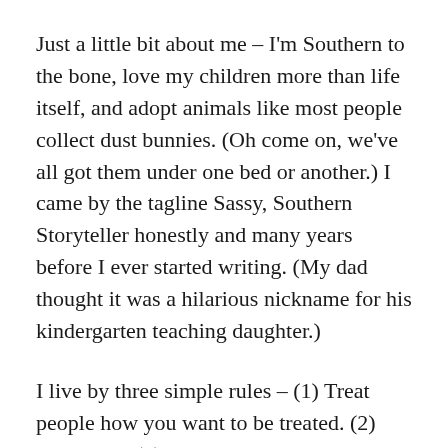Just a little bit about me – I'm Southern to the bone, love my children more than life itself, and adopt animals like most people collect dust bunnies. (Oh come on, we've all got them under one bed or another.) I came by the tagline Sassy, Southern Storyteller honestly and many years before I ever started writing. (My dad thought it was a hilarious nickname for his kindergarten teaching daughter.)
I live by three simple rules – (1) Treat people how you want to be treated. (2) Smile lots. (3) Try everything, 'cause hearses don't have luggage racks.
Now, go out there and create your own story!!!